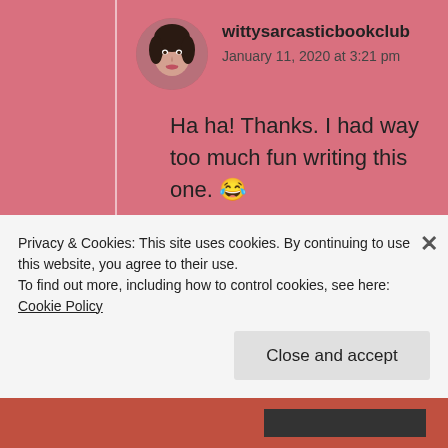[Figure (photo): Circular avatar photo of a woman with dark hair]
wittysarcasticbookclub
January 11, 2020 at 3:21 pm
Ha ha! Thanks. I had way too much fun writing this one. 😂
★ Liked by 1 person
↳ Reply
Privacy & Cookies: This site uses cookies. By continuing to use this website, you agree to their use.
To find out more, including how to control cookies, see here: Cookie Policy
Close and accept